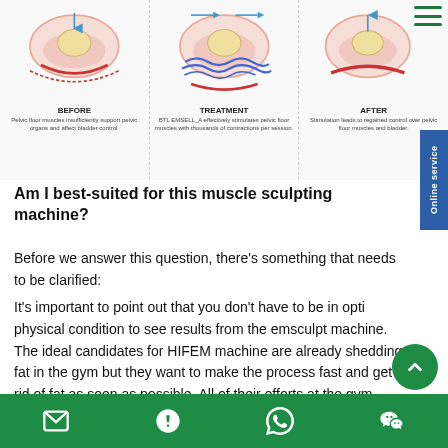[Figure (illustration): Three-panel medical diagram showing pelvic floor treatment: BEFORE (pelvic floor muscles insufficiently support pelvic organs and affect bladder control), TREATMENT (BTL EMSELL_A effectively stimulates pelvic floor muscles with thousands of contractions per session), AFTER (Stimulation leads to regained control over pelvic floor muscles and bladder)]
Am I best-suited for this muscle sculpting machine?
Before we answer this question, there's something that needs to be clarified: It's important to point out that you don't have to be in optimal physical condition to see results from the emsculpt machine. The ideal candidates for HIFEM machine are already shedding fat in the gym but they want to make the process fast and get rid of fat as soon as possible. All of their efforts at the gym have...